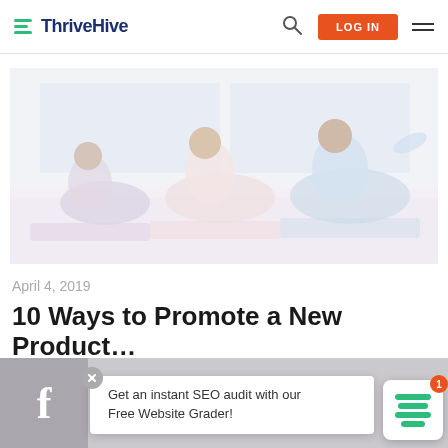ThriveHive | LOG IN
[Figure (photo): Three women doing yoga/pilates exercises on mats in a bright studio with large windows]
April 4, 2019
10 Ways to Promote a New Product or Service
Get an instant SEO audit with our Free Website Grader!